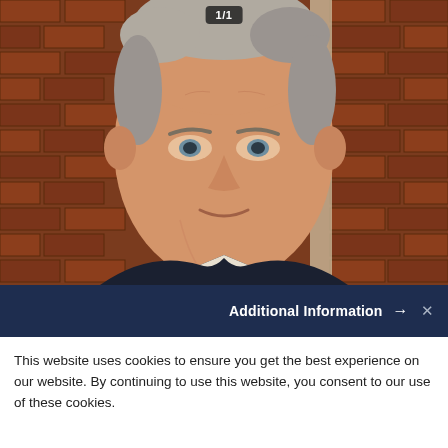[Figure (photo): Headshot photo of a middle-aged man with gray hair wearing a dark suit, standing in front of a red brick wall. A badge overlay in the top center reads '1/1'.]
Additional Information → ✕
This website uses cookies to ensure you get the best experience on our website. By continuing to use this website, you consent to our use of these cookies.